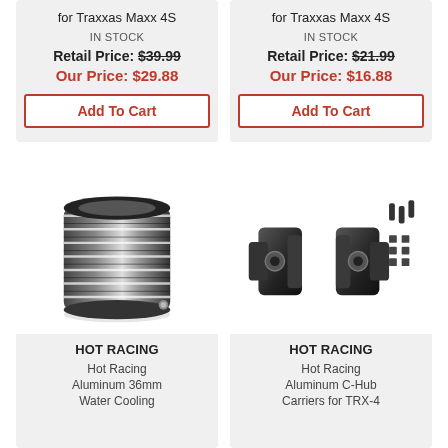for Traxxas Maxx 4S
IN STOCK
Retail Price: $39.99
Our Price: $29.88
Add To Cart
for Traxxas Maxx 4S
IN STOCK
Retail Price: $21.99
Our Price: $16.88
Add To Cart
[Figure (photo): Black aluminum ribbed cylindrical water cooling jacket component]
HOT RACING
Hot Racing Aluminum 36mm Water Cooling
[Figure (photo): Black aluminum C-Hub carriers with screws and hardware]
HOT RACING
Hot Racing Aluminum C-Hub Carriers for TRX-4